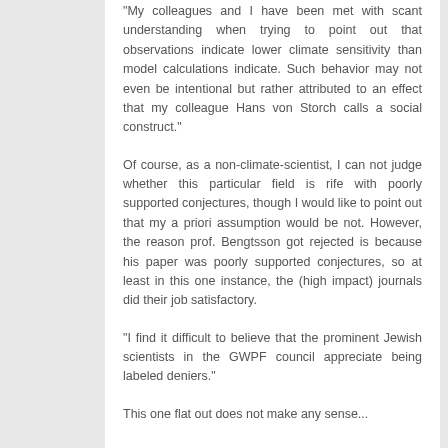"My colleagues and I have been met with scant understanding when trying to point out that observations indicate lower climate sensitivity than model calculations indicate. Such behavior may not even be intentional but rather attributed to an effect that my colleague Hans von Storch calls a social construct."
Of course, as a non-climate-scientist, I can not judge whether this particular field is rife with poorly supported conjectures, though I would like to point out that my a priori assumption would be not. However, the reason prof. Bengtsson got rejected is because his paper was poorly supported conjectures, so at least in this one instance, the (high impact) journals did their job satisfactory.
"I find it difficult to believe that the prominent Jewish scientists in the GWPF council appreciate being labeled deniers."
This one flat out does not make any sense...